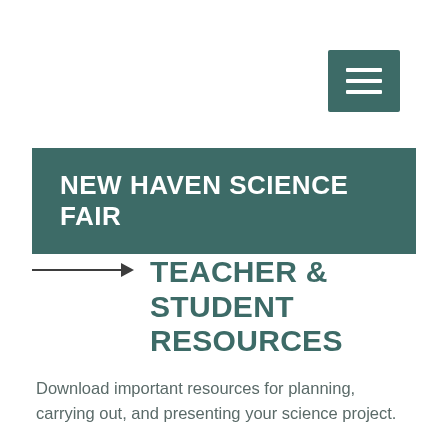[Figure (other): Hamburger menu button icon - three horizontal white lines on a dark teal square background]
NEW HAVEN SCIENCE FAIR
TEACHER & STUDENT RESOURCES
Download important resources for planning, carrying out, and presenting your science project.